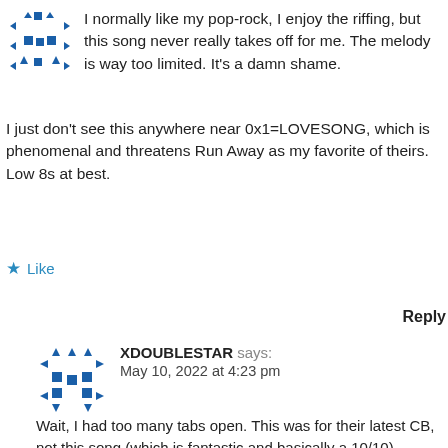I normally like my pop-rock, I enjoy the riffing, but this song never really takes off for me. The melody is way too limited. It's a damn shame.
I just don't see this anywhere near 0x1=LOVESONG, which is phenomenal and threatens Run Away as my favorite of theirs. Low 8s at best.
Like
Reply
XDOUBLESTAR says:
May 10, 2022 at 4:23 pm
Wait, I had too many tabs open. This was for their latest CB, not this song (which is fantastic and basically a 10/10)
Like